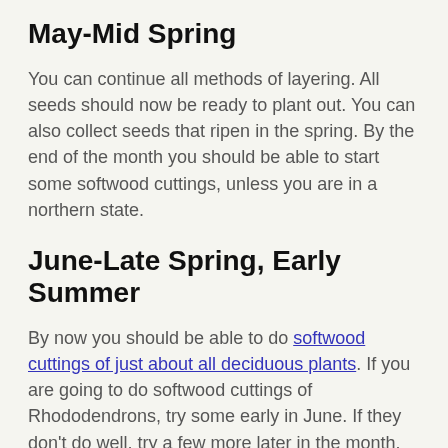May-Mid Spring
You can continue all methods of layering. All seeds should now be ready to plant out. You can also collect seeds that ripen in the spring. By the end of the month you should be able to start some softwood cuttings, unless you are in a northern state.
June-Late Spring, Early Summer
By now you should be able to do softwood cuttings of just about all deciduous plants. If you are going to do softwood cuttings of Rhododendrons, try some early in June. If they don't do well, try a few more later in the month.